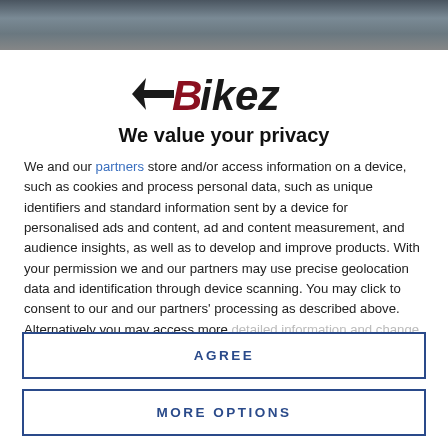[Figure (photo): Dark photo banner showing a motorcycle or motorbike at the top of the page]
Bikez
We value your privacy
We and our partners store and/or access information on a device, such as cookies and process personal data, such as unique identifiers and standard information sent by a device for personalised ads and content, ad and content measurement, and audience insights, as well as to develop and improve products. With your permission we and our partners may use precise geolocation data and identification through device scanning. You may click to consent to our and our partners' processing as described above. Alternatively you may access more detailed information and change your preferences before consenting or to refuse consenting. Please note that some processing of your
AGREE
MORE OPTIONS